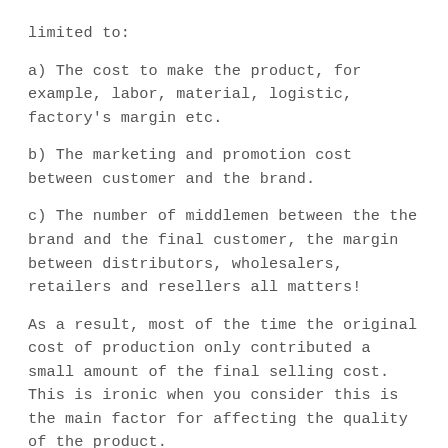limited to:
a) The cost to make the product, for example, labor, material, logistic, factory's margin etc.
b) The marketing and promotion cost between customer and the brand.
c) The number of middlemen between the the brand and the final customer, the margin between distributors, wholesalers, retailers and resellers all matters!
As a result, most of the time the original cost of production only contributed a small amount of the final selling cost. This is ironic when you consider this is the main factor for affecting the quality of the product.
Many wallets selling at a $150-$250 price range cost